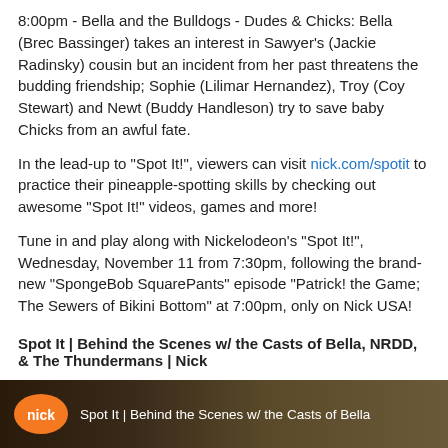8:00pm - Bella and the Bulldogs - Dudes & Chicks: Bella (Brec Bassinger) takes an interest in Sawyer's (Jackie Radinsky) cousin but an incident from her past threatens the budding friendship; Sophie (Lilimar Hernandez), Troy (Coy Stewart) and Newt (Buddy Handleson) try to save baby Chicks from an awful fate.
In the lead-up to "Spot It!", viewers can visit nick.com/spotit to practice their pineapple-spotting skills by checking out awesome "Spot It!" videos, games and more!
Tune in and play along with Nickelodeon's "Spot It!", Wednesday, November 11 from 7:30pm, following the brand-new "SpongeBob SquarePants" episode "Patrick! the Game; The Sewers of Bikini Bottom" at 7:00pm, only on Nick USA!
Spot It | Behind the Scenes w/ the Casts of Bella, NRDD, & The Thundermans | Nick
[Figure (screenshot): Video thumbnail showing Nickelodeon 'nick' orange logo on dark background with text: Spot It | Behind the Scenes w/ the Casts of Bella]